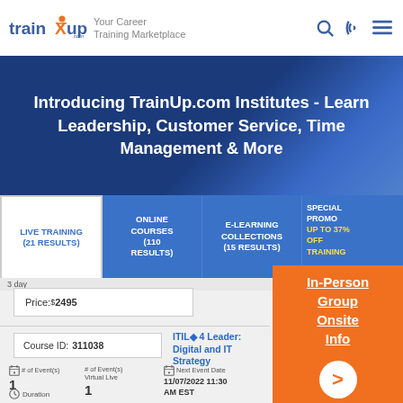[Figure (logo): TrainUp.com logo with orange figure and text 'Your Career Training Marketplace']
Introducing TrainUp.com Institutes - Learn Leadership, Customer Service, Time Management & More
LIVE TRAINING (21 RESULTS)
ONLINE COURSES (110 RESULTS)
E-LEARNING COLLECTIONS (15 RESULTS)
SPECIAL PROMO UP TO 37% OFF TRAINING
3 day
Price: $2495
Course ID: 311038
ITIL® 4 Leader: Digital and IT Strategy
# of Event(s)
1
# of Event(s) Virtual Live
1
Next Event Date
11/07/2022 11:30 AM EST
Duration
In-Person Group Onsite Info